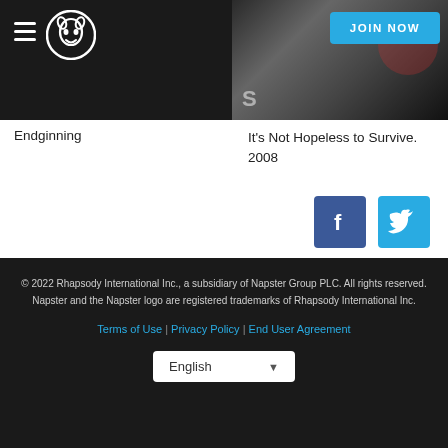[Figure (screenshot): Napster navigation bar with hamburger menu and Napster cat logo on dark background, left panel]
[Figure (screenshot): Right panel image showing a music-related photo (appears to be punk/rock style), partially visible]
[Figure (other): JOIN NOW button in cyan/blue color at top right]
Endginning
It's Not Hopeless to Survive.
2008
[Figure (logo): Facebook logo icon - blue square with white F]
[Figure (logo): Twitter logo icon - cyan square with white bird]
© 2022 Rhapsody International Inc., a subsidiary of Napster Group PLC. All rights reserved. Napster and the Napster logo are registered trademarks of Rhapsody International Inc.
Terms of Use | Privacy Policy | End User Agreement
English